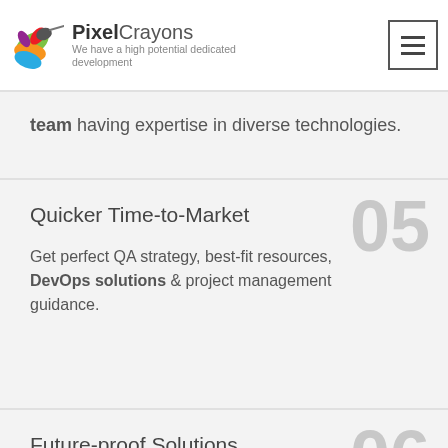PixelCrayons — We have a high potential dedicated development team having expertise in diverse technologies.
team having expertise in diverse technologies.
Quicker Time-to-Market
Get perfect QA strategy, best-fit resources, DevOps solutions & project management guidance.
Future-proof Solutions
Get future-ready eCommerce software solutions created by using the most modern tools &